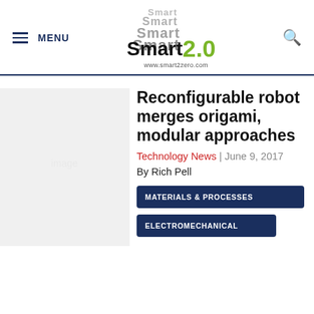MENU | Smart2.0 www.smart2zero.com
[Figure (photo): Faint watermark-style robot/origami image in light gray on left side]
Reconfigurable robot merges origami, modular approaches
Technology News | June 9, 2017
By Rich Pell
MATERIALS & PROCESSES
ELECTROMECHANICAL